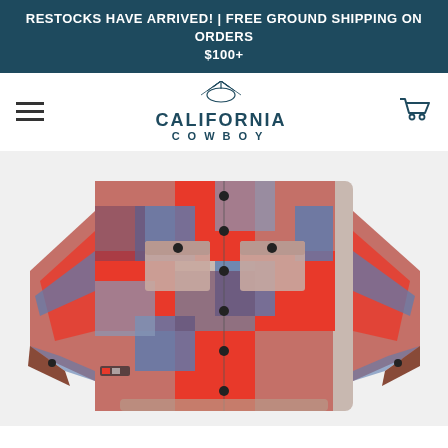RESTOCKS HAVE ARRIVED! | FREE GROUND SHIPPING ON ORDERS $100+
[Figure (logo): California Cowboy brand logo with sunburst icon above text]
[Figure (photo): Red, blue, and grey large plaid flannel shirt displayed flat, with two chest pockets and snap buttons]